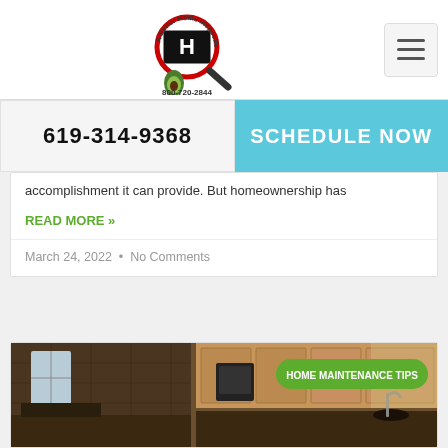[Figure (logo): A Better Home Inspection logo with magnifying glass, avocado, and 'H' letter. Phone number 800-720-2844 shown below logo.]
[Figure (other): Hamburger menu icon button in top right corner]
619-314-9368
SCHEDULE NOW
accomplishment it can provide. But homeownership has
READ MORE »
March 24, 2022  •  No Comments
[Figure (photo): Kitchen interior photo with dark wood cabinetry, countertops, appliances, and a HOME MAINTENANCE TIPS badge overlay]